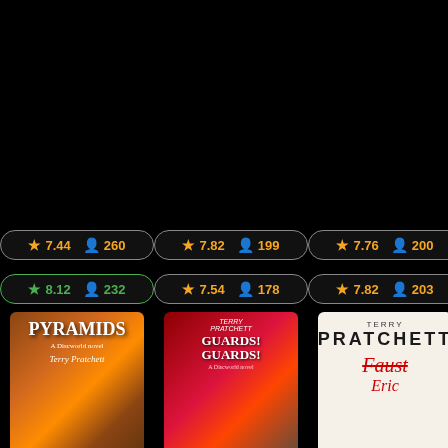[Figure (other): Book rating badge showing star rating 7.44 and 260 readers]
[Figure (other): Book rating badge showing star rating 7.82 and 199 readers]
[Figure (other): Book rating badge showing star rating 7.76 and 200 readers]
[Figure (other): Book rating badge showing green star rating 8.12 and 232 readers]
[Figure (other): Book rating badge showing star rating 7.54 and 178 readers]
[Figure (other): Book rating badge showing star rating 7.82 and 203 readers]
[Figure (illustration): Book cover for Pyramids by Terry Pratchett - a Discworld novel, showing fantasy battle scene]
[Figure (illustration): Book cover for Guards! Guards! by Terry Pratchett - a Discworld novel, showing dragon scene]
[Figure (illustration): Book cover for Faust by Terry Pratchett, showing white cover with author name and strikethrough Faust title]